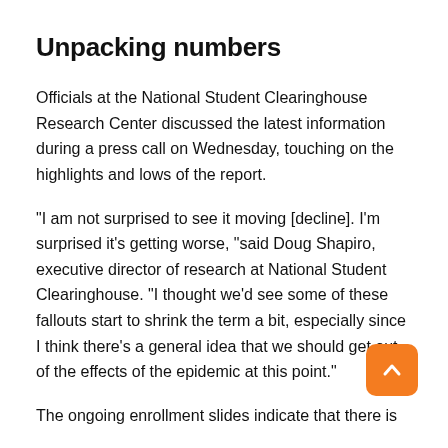Unpacking numbers
Officials at the National Student Clearinghouse Research Center discussed the latest information during a press call on Wednesday, touching on the highlights and lows of the report.
“I am not surprised to see it moving [decline]. I’m surprised it’s getting worse, “said Doug Shapiro, executive director of research at National Student Clearinghouse. “I thought we’d see some of these fallouts start to shrink the term a bit, especially since I think there’s a general idea that we should get out of the effects of the epidemic at this point.”
The ongoing enrollment slides indicate that there is